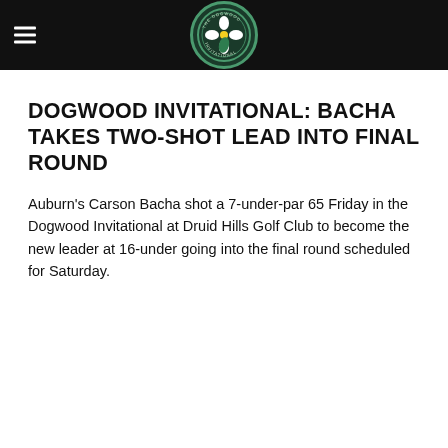The Dogwood Invitational logo
DOGWOOD INVITATIONAL: BACHA TAKES TWO-SHOT LEAD INTO FINAL ROUND
Auburn's Carson Bacha shot a 7-under-par 65 Friday in the Dogwood Invitational at Druid Hills Golf Club to become the new leader at 16-under going into the final round scheduled for Saturday.